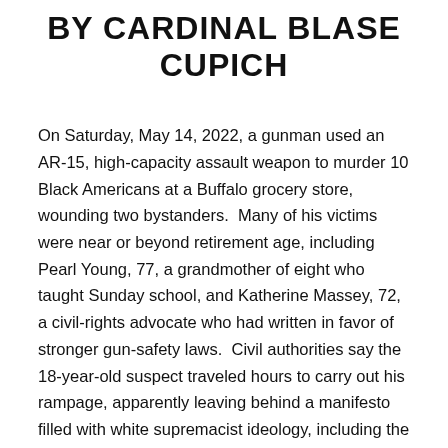BY CARDINAL BLASE CUPICH
On Saturday, May 14, 2022, a gunman used an AR-15, high-capacity assault weapon to murder 10 Black Americans at a Buffalo grocery store, wounding two bystanders.  Many of his victims were near or beyond retirement age, including Pearl Young, 77, a grandmother of eight who taught Sunday school, and Katherine Massey, 72, a civil-rights advocate who had written in favor of stronger gun-safety laws.  Civil authorities say the 18-year-old suspect traveled hours to carry out his rampage, apparently leaving behind a manifesto filled with white supremacist ideology, including the vile conspiracy theory that people of color are “replacing” white Americans.
In 2019, a gunman who shot up a Walmart in Texas